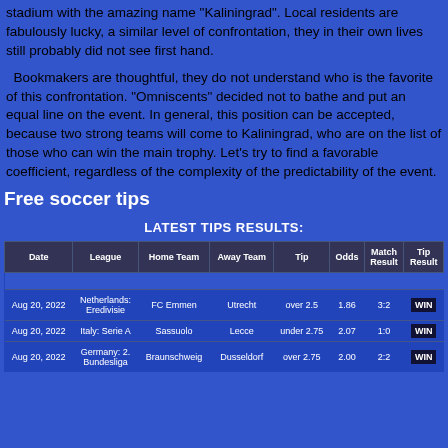stadium with the amazing name "Kaliningrad". Local residents are fabulously lucky, a similar level of confrontation, they in their own lives still probably did not see first hand.
Bookmakers are thoughtful, they do not understand who is the favorite of this confrontation. "Omniscents" decided not to bathe and put an equal line on the event. In general, this position can be accepted, because two strong teams will come to Kaliningrad, who are on the list of those who can win the main trophy. Let's try to find a favorable coefficient, regardless of the complexity of the predictability of the event.
Free soccer tips
LATEST TIPS RESULTS:
| Date | League | Home Team | Away Team | Tip | Odds | Match Result | Tip Result |
| --- | --- | --- | --- | --- | --- | --- | --- |
| Aug 20, 2022 | Netherlands: Eredivisie | FC Emmen | Utrecht | over 2.5 | 1.86 | 3:2 | WIN |
| Aug 20, 2022 | Italy: Serie A | Sassuolo | Lecce | under 2.75 | 2.07 | 1:0 | WIN |
| Aug 20, 2022 | Germany: 2. Bundesliga | Braunschweig | Dusseldorf | over 2.75 | 2.00 | 2:2 | WIN |